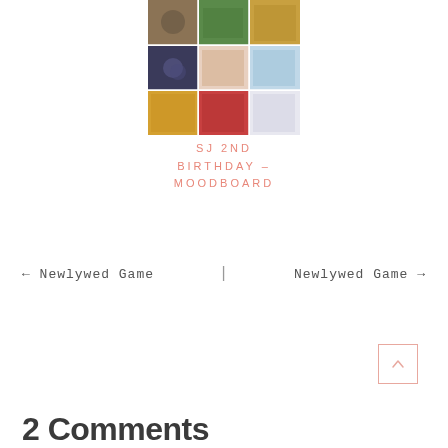[Figure (photo): A collage/moodboard of farm-themed birthday party images arranged in a 3x3 grid]
SJ 2ND BIRTHDAY – MOODBOARD
← Newlywed Game  |  Newlywed Game →
2 Comments